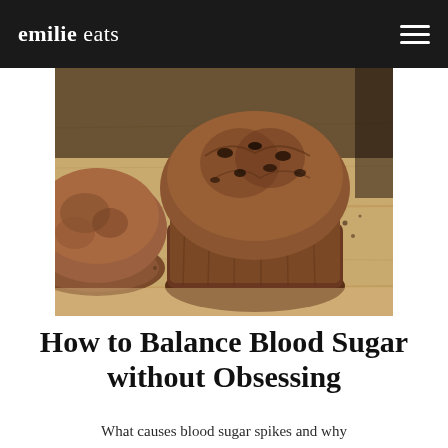emilie eats
[Figure (photo): Close-up photograph of chocolate chip muffins on a light wooden cutting board. The center muffin is in sharp focus, showing a cracked, textured brown top with visible chocolate chips.]
How to Balance Blood Sugar without Obsessing
What causes blood sugar spikes and why